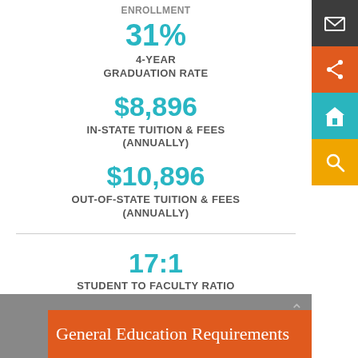ENROLLMENT
31%
4-YEAR
GRADUATION RATE
$8,896
IN-STATE TUITION & FEES
(ANNUALLY)
$10,896
OUT-OF-STATE TUITION & FEES
(ANNUALLY)
17:1
STUDENT TO FACULTY RATIO
9.8%
STUDENT LOAN DEFAULT RATE
General Education Requirements